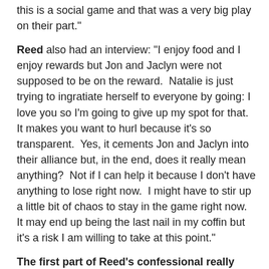this is a social game and that was a very big play on their part.”
Reed also had an interview: “I enjoy food and I enjoy rewards but Jon and Jaclyn were not supposed to be on the reward.  Natalie is just trying to ingratiate herself to everyone by going: I love you so I’m going to give up my spot for that.  It makes you want to hurl because it’s so transparent.  Yes, it cements Jon and Jaclyn into their alliance but, in the end, does it really mean anything?  Not if I can help it because I don’t have anything to lose right now.  I might have to stir up a little bit of chaos to stay in the game right now.  It may end up being the last nail in my coffin but it’s a risk I am willing to take at this point.”
The first part of Reed’s confessional really made him sound jealous that he didn’t think of doing the same.  I’m sure those sandwiches didn’t taste as good as they should have when he realized he missed an opportunity.  It’s also funny that someone who would resort to a dirty trick to ingratiate himself to everyone would hurl when someone did something nice to everyone. They will, It’s also funny of